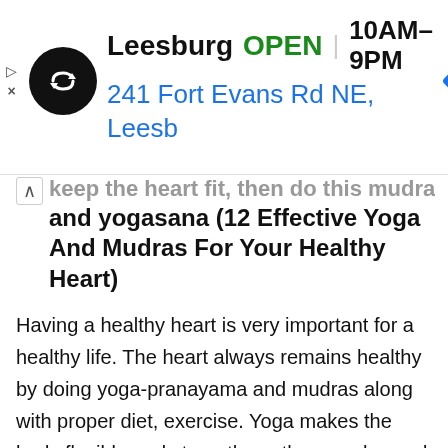[Figure (screenshot): Ad banner for Leesburg store: circular black logo with arrow icon, store name 'Leesburg', status 'OPEN' in green, hours '10AM–9PM', address '241 Fort Evans Rd NE, Leesb', navigation diamond icon on right. Small back/skip arrows on far left.]
keep the heart fit, then do this mudra and yogasana (12 Effective Yoga And Mudras For Your Healthy Heart)
Having a healthy heart is very important for a healthy life. The heart always remains healthy by doing yoga-pranayama and mudras along with proper diet, exercise. Yoga makes the body flexible and strengthens the muscles and also relieves stress. In all these, the most attention is paid to the breath, due to which our respiratory system remains healthy. Due to this the oxygen level in the body starts getting sufficient, which has a direct effect on blood circulation and metabolism. Today we have brought